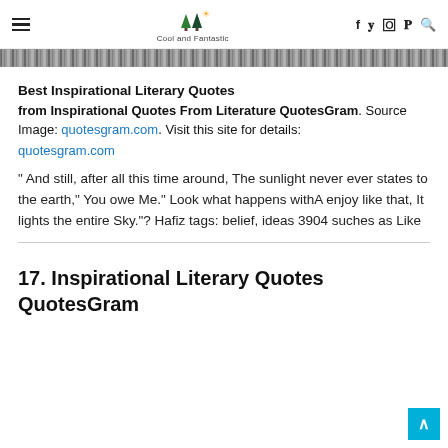Cool and Fantastic
[Figure (photo): Decorative hero image strip at top of article]
Best Inspirational Literary Quotes
from Inspirational Quotes From Literature QuotesGram. Source Image: quotesgram.com. Visit this site for details: quotesgram.com
" And still, after all this time around, The sunlight never ever states to the earth," You owe Me." Look what happens withA enjoy like that, It lights the entire Sky."? Hafiz tags: belief, ideas 3904 suches as Like
17. Inspirational Literary Quotes QuotesGram